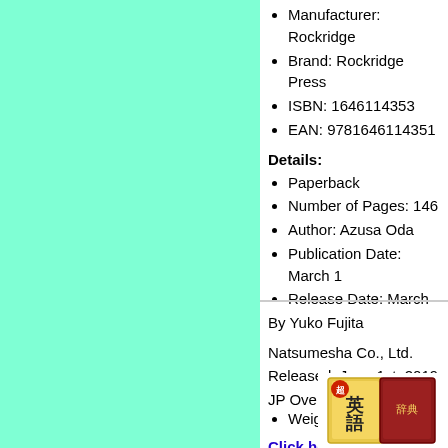Manufacturer: Rockridge
Brand: Rockridge Press
ISBN: 1646114353
EAN: 9781646114351
Details:
Paperback
Number of Pages: 146
Author: Azusa Oda
Publication Date: March 1
Release Date: March 17t
Physical Description:
Size: 9.25 Inches by 7.5 I
Weight: 0.82 Pounds
Click here for more informatio
By Yuko Fujita
Natsumesha Co., Ltd.
Released: June 1st, 2019
JP Oversized (288 pages)
[Figure (illustration): Book cover image with Japanese text showing 英語]